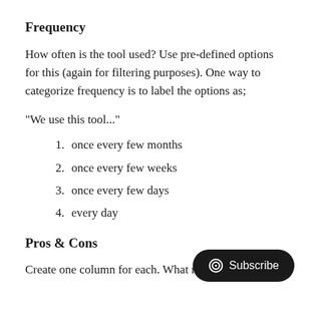Frequency
How often is the tool used? Use pre-defined options for this (again for filtering purposes). One way to categorize frequency is to label the options as;
"We use this tool..."
once every few months
once every few weeks
once every few days
every day
Pros & Cons
Create one column for each. What makes you come